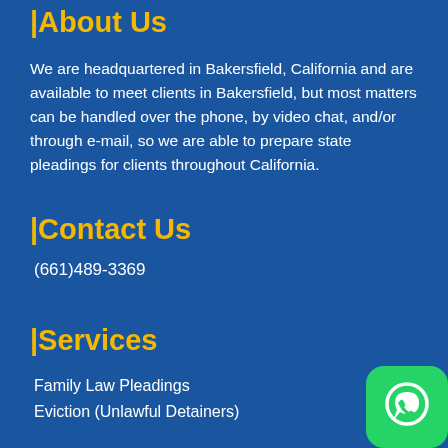|About Us
We are headquartered in Bakersfield, California and are available to meet clients in Bakersfield, but most matters can be handled over the phone, by video chat, and/or through e-mail, so we are able to prepare state pleadings for clients throughout California.
|Contact Us
(661)489-3369
|Services
Family Law Pleadings
Eviction (Unlawful Detainers)